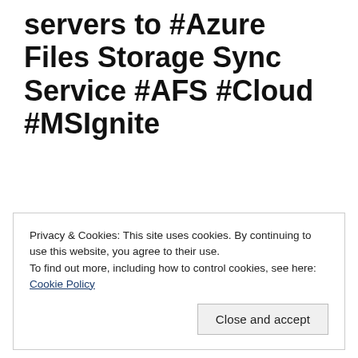servers to #Azure Files Storage Sync Service #AFS #Cloud #MSIgnite
Privacy & Cookies: This site uses cookies. By continuing to use this website, you agree to their use.
To find out more, including how to control cookies, see here: Cookie Policy
Close and accept